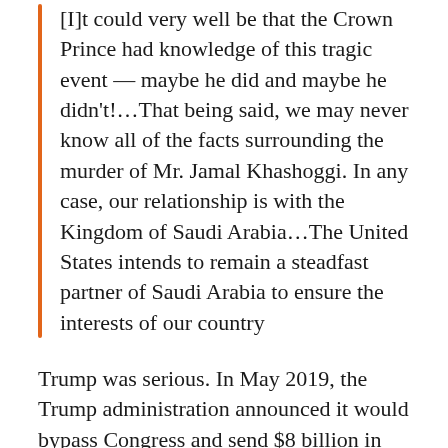[I]t could very well be that the Crown Prince had knowledge of this tragic event — maybe he did and maybe he didn't!…That being said, we may never know all of the facts surrounding the murder of Mr. Jamal Khashoggi. In any case, our relationship is with the Kingdom of Saudi Arabia…The United States intends to remain a steadfast partner of Saudi Arabia to ensure the interests of our country
Trump was serious. In May 2019, the Trump administration announced it would bypass Congress and send $8 billion in weapons to Saudi Arabia and its close ally, the UAE. A bipartisan majority in Congress passed legislation to block the sale but Trump vetoed it.